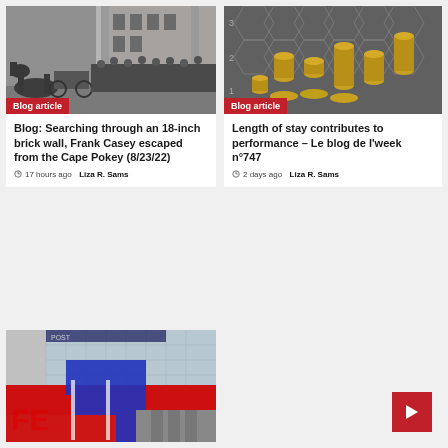[Figure (photo): Black and white historical photo of a horse-drawn fire wagon with a group of firefighters posed in front of a brick building. Badge: Blog article]
Blog: Searching through an 18-inch brick wall, Frank Casey escaped from the Cape Pokey (8/23/22)
17 hours ago  Liza R. Sams
[Figure (photo): Color photo of gold coins stacked on a hexagonal board game grid. Badge: Blog article]
Length of stay contributes to performance – Le blog de l'week n°747
2 days ago  Liza R. Sams
[Figure (photo): Color photo of a building exterior with large red and blue graphic signage, featuring FedEx-style branding. Partial text 'POST' visible.]